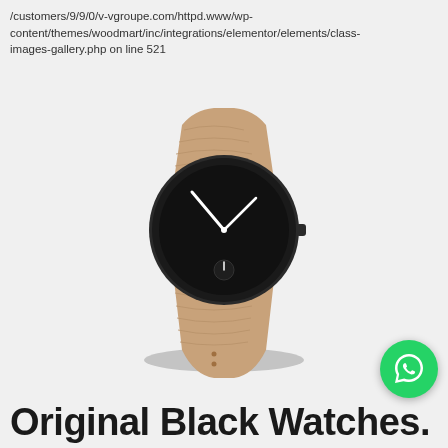/customers/9/9/0/v-vgroupe.com/httpd.www/wp-content/themes/woodmart/inc/integrations/elementor/elements/class-images-gallery.php on line 521
[Figure (photo): A minimalist wristwatch with a black circular dial and tan/beige leather strap, photographed at an angle against a light grey background. The watch has white hands showing approximately 10:10 and a small sub-dial at the bottom.]
Original Black Watches.